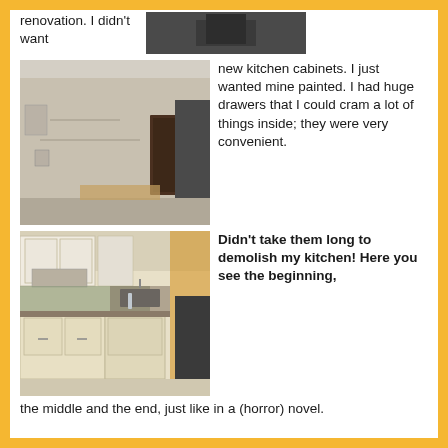renovation. I didn't want
[Figure (photo): Partial view of kitchen area from above, dark countertop visible]
[Figure (photo): Kitchen mid-demolition, walls stripped bare, no cabinets, wood on floor, dark door visible at back]
new kitchen cabinets. I just wanted mine painted. I had huge drawers that I could cram a lot of things inside; they were very convenient.
[Figure (photo): Kitchen before demolition showing cream/tan cabinets, green backsplash, dark countertops, range hood, and orange wall on right]
Didn't take them long to demolish my kitchen! Here you see the beginning, the middle and the end, just like in a (horror) novel.